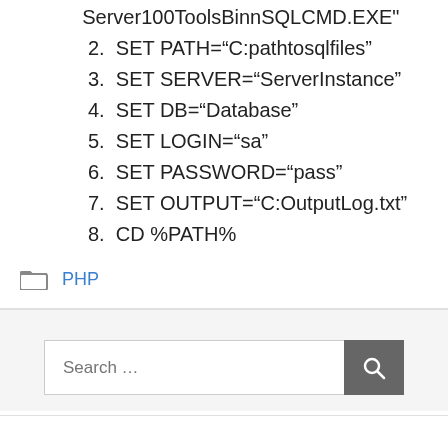Server100ToolsBinnSQLCMD.EXE"
2. SET PATH="C:pathtosqlfiles"
3. SET SERVER="ServerInstance"
4. SET DB="Database"
5. SET LOGIN="sa"
6. SET PASSWORD="pass"
7. SET OUTPUT="C:OutputLog.txt"
8. CD %PATH%
PHP
Search ...